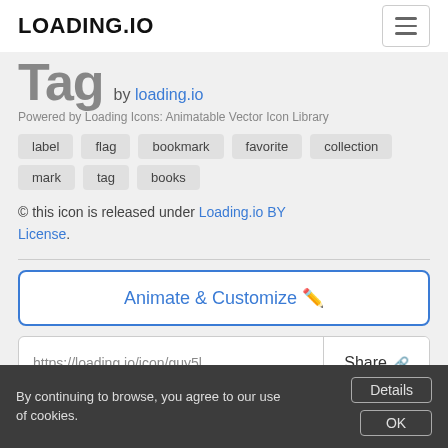LOADING.IO
Tag by loading.io
Powered by Loading Icons: Animatable Vector Icon Library
label
flag
bookmark
favorite
collection
mark
tag
books
© this icon is released under Loading.io BY License.
Animate & Customize
https://loading.io/icon/guy5l
Share
By continuing to browse, you agree to our use of cookies.